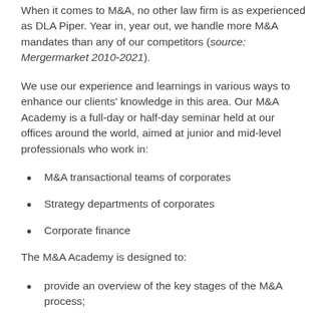When it comes to M&A, no other law firm is as experienced as DLA Piper. Year in, year out, we handle more M&A mandates than any of our competitors (source: Mergermarket 2010-2021).
We use our experience and learnings in various ways to enhance our clients' knowledge in this area. Our M&A Academy is a full-day or half-day seminar held at our offices around the world, aimed at junior and mid-level professionals who work in:
M&A transactional teams of corporates
Strategy departments of corporates
Corporate finance
The M&A Academy is designed to:
provide an overview of the key stages of the M&A process;